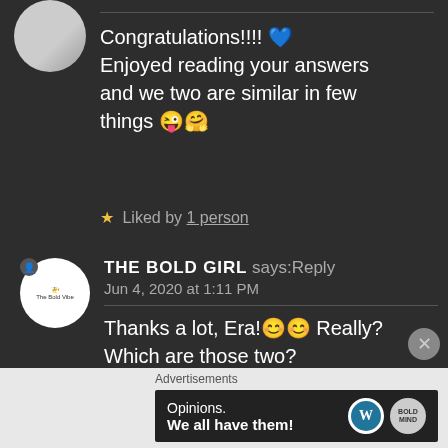Congratulations!!!! 💙 Enjoyed reading your answers and we two are similar in few things 😜🤗
★ Liked by 1 person
THE BOLD GIRL says: Reply
Jun 4, 2020 at 1:11 PM
Thanks a lot, Era!😊😊 Really? Which are those two?
Advertisements
[Figure (screenshot): WordPress advertisement banner: 'Opinions. We all have them!' with WordPress and another logo on dark background]